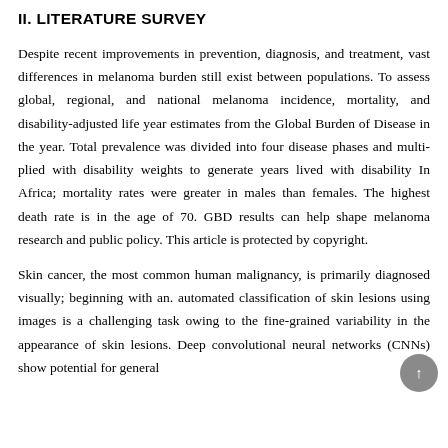II. LITERATURE SURVEY
Despite recent improvements in prevention, diagnosis, and treatment, vast differences in melanoma burden still exist between populations. To assess global, regional, and national melanoma incidence, mortality, and disability-adjusted life year estimates from the Global Burden of Disease in the year. Total prevalence was divided into four disease phases and multi-plied with disability weights to generate years lived with disability In Africa; mortality rates were greater in males than females. The highest death rate is in the age of 70. GBD results can help shape melanoma research and public policy. This article is protected by copyright.
Skin cancer, the most common human malignancy, is primarily diagnosed visually; beginning with an. automated classification of skin lesions using images is a challenging task owing to the fine-grained variability in the appearance of skin lesions. Deep convolutional neural networks (CNNs) show potential for general